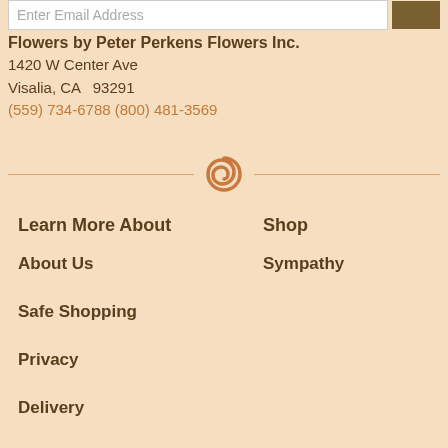Enter Email Address
Flowers by Peter Perkens Flowers Inc.
1420 W Center Ave
Visalia, CA  93291
(559) 734-6788 (800) 481-3569
[Figure (illustration): Decorative rose/swirl icon in orange-brown color, centered between two horizontal divider lines]
Learn More About
Shop
About Us
Sympathy
Safe Shopping
Privacy
Delivery
Substitutions